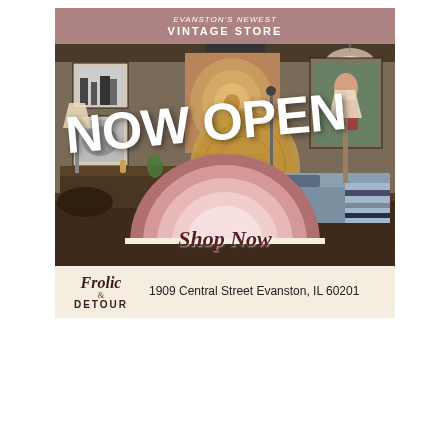[Figure (photo): Advertisement for Frolic & Detour vintage store in Evanston, IL. Shows interior of vintage shop with furniture, lamps, art on walls. Overlaid text reads 'NOW OPEN' in large white letters, with a rainbow arc graphic and 'Shop Now' in cursive. Header bar reads 'VINTAGE STORE'. Footer shows Frolic & Detour logo and address 1909 Central Street Evanston, IL 60201.]